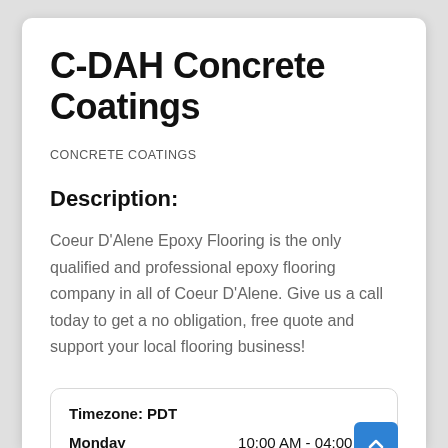C-DAH Concrete Coatings
CONCRETE COATINGS
Description:
Coeur D'Alene Epoxy Flooring is the only qualified and professional epoxy flooring company in all of Coeur D'Alene. Give us a call today to get a no obligation, free quote and support your local flooring business!
|  |  |
| --- | --- |
| Timezone: PDT |  |
| Monday | 10:00 AM - 04:00 PM |